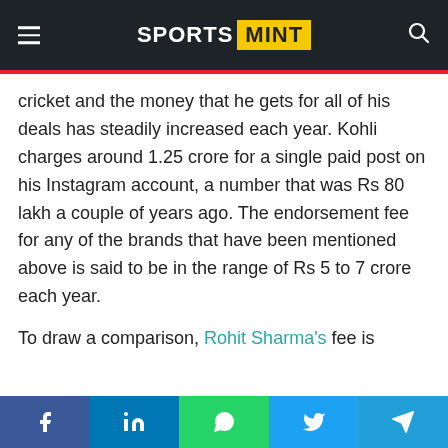SPORTS MINT
cricket and the money that he gets for all of his deals has steadily increased each year. Kohli charges around 1.25 crore for a single paid post on his Instagram account, a number that was Rs 80 lakh a couple of years ago. The endorsement fee for any of the brands that have been mentioned above is said to be in the range of Rs 5 to 7 crore each year.
To draw a comparison, Rohit Sharma's fee is around Rs 3 crore, while the likes of Ajinkya Rahane and KL Rahul are in the Rs 1-1.25 crore
Social share bar: Facebook, LinkedIn, WhatsApp, Twitter, Telegram